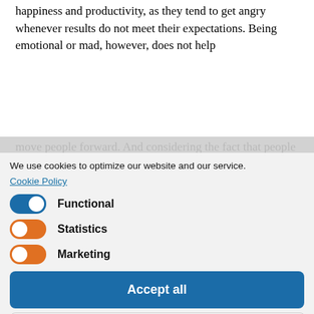happiness and productivity, as they tend to get angry whenever results do not meet their expectations. Being emotional or mad, however, does not help
move people forward. And considering the fact that people are much more affected by negative experiences than positive ones, this is concerning at every negative experience, we need positive ones with similar implications to balance. So even though positive leadership requires hard work, it's indispensable – and as a travel manager, you need to fully commit to happiness, an integral part of your travel program.
We use cookies to optimize our website and our service.
Cookie Policy
Functional
Statistics
Marketing
Accept all
Save preferences
At Roadmap, we believe in and foster happiness, and we think that ensuring it will make your travelers more productive and more willing to engage with your